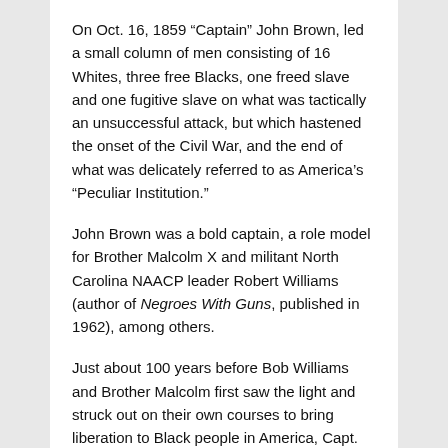On Oct. 16, 1859 “Captain” John Brown, led a small column of men consisting of 16 Whites, three free Blacks, one freed slave and one fugitive slave on what was tactically an unsuccessful attack, but which hastened the onset of the Civil War, and the end of what was delicately referred to as America’s “Peculiar Institution.”
John Brown was a bold captain, a role model for Brother Malcolm X and militant North Carolina NAACP leader Robert Williams (author of Negroes With Guns, published in 1962), among others.
Just about 100 years before Bob Williams and Brother Malcolm first saw the light and struck out on their own courses to bring liberation to Black people in America, Capt. Brown led small groups of volunteers during the Bloody Kansas border war in 1856.
John Brown called for violent action in response to Southern, slaveholder aggression against the abolition movement. “These men are all talk,” Brown reportedly